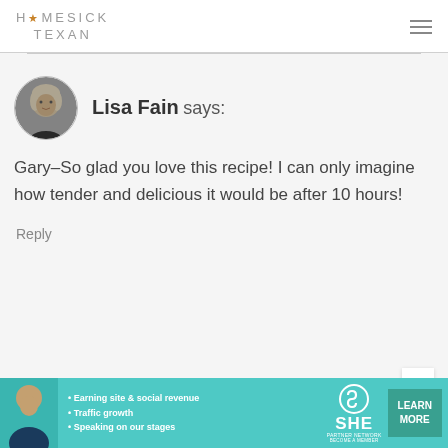HOMESICK TEXAN
[Figure (photo): Circular avatar photo of Lisa Fain, black and white portrait of a woman with light hair]
Lisa Fain says:
Gary–So glad you love this recipe! I can only imagine how tender and delicious it would be after 10 hours!
Reply
[Figure (infographic): SHE Partner Network advertisement banner with teal background. Bullet points: Earning site & social revenue, Traffic growth, Speaking on our stages. SHE logo with circle. LEARN MORE button. BECOME A MEMBER text.]